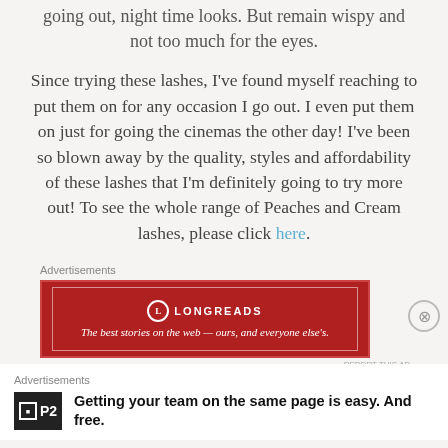going out, night time looks. But remain wispy and not too much for the eyes.
Since trying these lashes, I’ve found myself reaching to put them on for any occasion I go out. I even put them on just for going the cinemas the other day! I’ve been so blown away by the quality, styles and affordability of these lashes that I’m definitely going to try more out! To see the whole range of Peaches and Cream lashes, please click here.
Advertisements
[Figure (other): Longreads advertisement banner: red background with white border, Longreads logo and tagline 'The best stories on the web — ours, and everyone else’s.']
REPORT THIS AD
Advertisements
[Figure (other): P2 advertisement: white background, P2 logo on left, bold text 'Getting your team on the same page is easy. And free.']